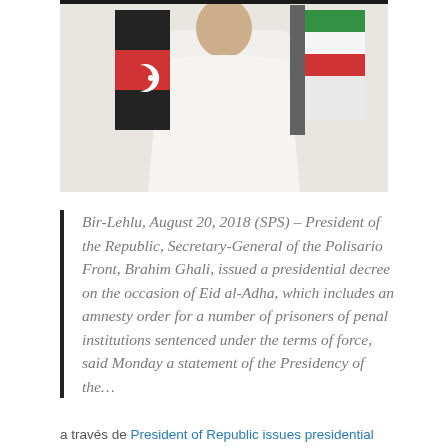[Figure (photo): A person in white traditional clothing standing in front of flags, one of which appears to be the Sahrawi Arab Democratic Republic flag with red crescent.]
Bir-Lehlu, August 20, 2018 (SPS) – President of the Republic, Secretary-General of the Polisario Front, Brahim Ghali, issued a presidential decree on the occasion of Eid al-Adha, which includes an amnesty order for a number of prisoners of penal institutions sentenced under the terms of force, said Monday a statement of the Presidency of the…
a través de President of Republic issues presidential